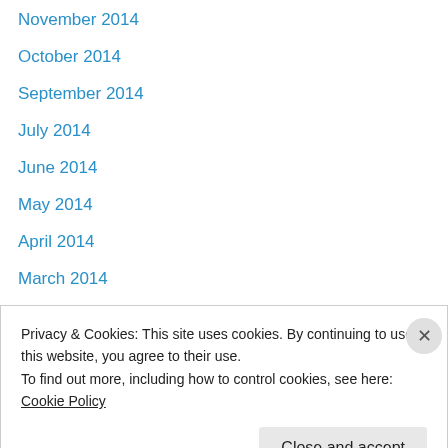November 2014
October 2014
September 2014
July 2014
June 2014
May 2014
April 2014
March 2014
February 2014
January 2014
December 2013
November 2013
October 2013
Privacy & Cookies: This site uses cookies. By continuing to use this website, you agree to their use.
To find out more, including how to control cookies, see here: Cookie Policy